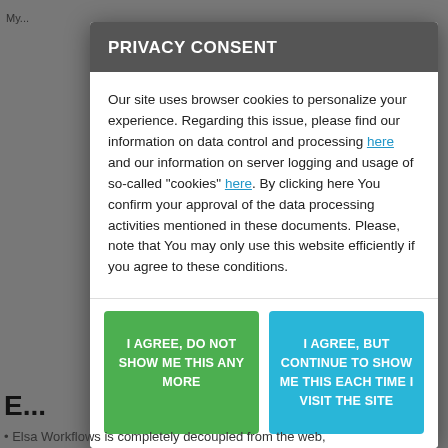PRIVACY CONSENT
Our site uses browser cookies to personalize your experience. Regarding this issue, please find our information on data control and processing here and our information on server logging and usage of so-called "cookies" here. By clicking here You confirm your approval of the data processing activities mentioned in these documents. Please, note that You may only use this website efficiently if you agree to these conditions.
I AGREE, DO NOT SHOW ME THIS ANY MORE
I AGREE, BUT CONTINUE TO SHOW ME THIS EACH TIME I VISIT THE SITE
Elsa Workflows is completely decoupled from the web,